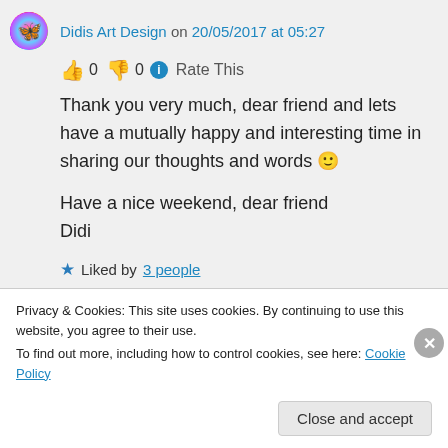Didis Art Design on 20/05/2017 at 05:27
👍 0 👎 0 ℹ Rate This
Thank you very much, dear friend and lets have a mutually happy and interesting time in sharing our thoughts and words 🙂

Have a nice weekend, dear friend
Didi
★ Liked by 3 people
Privacy & Cookies: This site uses cookies. By continuing to use this website, you agree to their use.
To find out more, including how to control cookies, see here: Cookie Policy
Close and accept